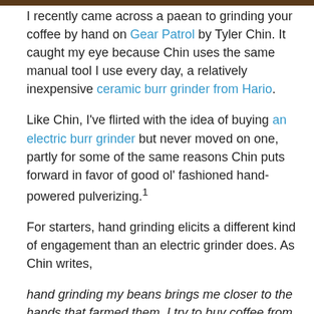[Figure (photo): Top strip of a photo showing a coffee grinder or beans, partially cropped at top of page]
I recently came across a paean to grinding your coffee by hand on Gear Patrol by Tyler Chin. It caught my eye because Chin uses the same manual tool I use every day, a relatively inexpensive ceramic burr grinder from Hario.
Like Chin, I've flirted with the idea of buying an electric burr grinder but never moved on one, partly for some of the same reasons Chin puts forward in favor of good ol' fashioned hand-powered pulverizing.¹
For starters, hand grinding elicits a different kind of engagement than an electric grinder does. As Chin writes,
hand grinding my beans brings me closer to the hands that farmed them. I try to buy coffee from roasters that are sustainably and ethically sourcing their beans. Coffee farming is a labor-intensive job, sometimes with minimal